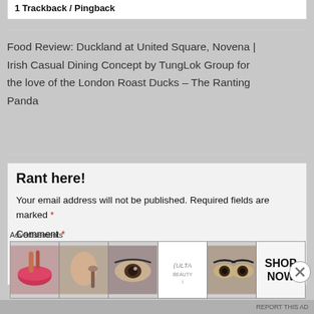1 Trackback / Pingback
Food Review: Duckland at United Square, Novena | Irish Casual Dining Concept by TungLok Group for the love of the London Roast Ducks – The Ranting Panda
Rant here!
Your email address will not be published. Required fields are marked *
Comment *
[Figure (other): Advertisement banner showing beauty/cosmetics images and ULTA logo with SHOP NOW text]
Advertisements